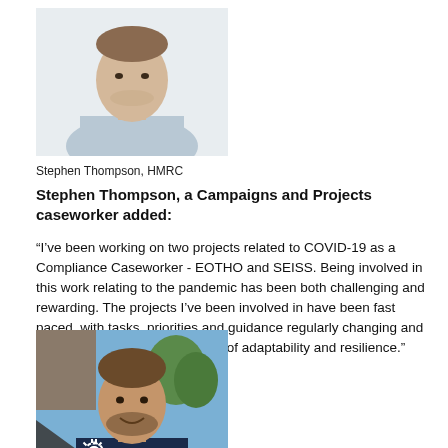[Figure (photo): Headshot of Stephen Thompson, a young man with short brown hair wearing a light blue shirt, against a white background]
Stephen Thompson, HMRC
Stephen Thompson, a Campaigns and Projects caseworker added:
“I’ve been working on two projects related to COVID-19 as a Compliance Caseworker - EOTHO and SEISS. Being involved in this work relating to the pandemic has been both challenging and rewarding. The projects I’ve been involved in have been fast paced, with tasks, priorities and guidance regularly changing and updating, requiring a great deal of adaptability and resilience.”
[Figure (photo): Photo of a man with brown hair and beard wearing a dark navy shirt, smiling outdoors with blue sky and trees in background. A dark grey triangle overlays the bottom-left corner with a cogwheel icon.]